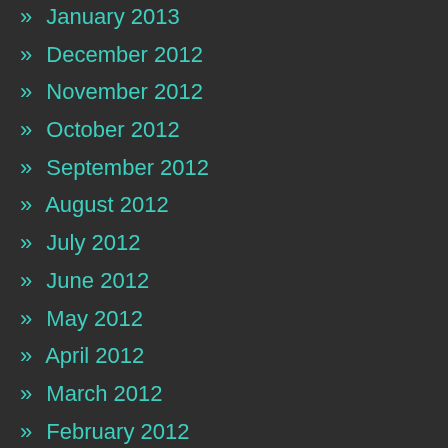» January 2013
» December 2012
» November 2012
» October 2012
» September 2012
» August 2012
» July 2012
» June 2012
» May 2012
» April 2012
» March 2012
» February 2012
» January 2012
» December 2011
» November 2011